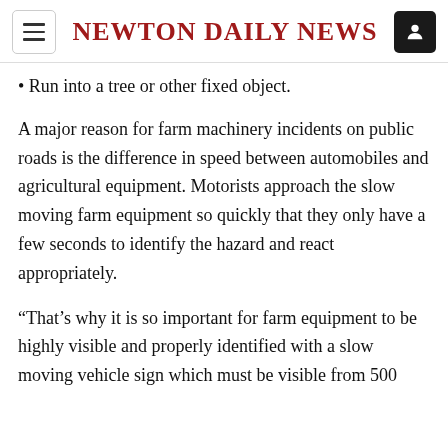Newton Daily News
Run into a tree or other fixed object.
A major reason for farm machinery incidents on public roads is the difference in speed between automobiles and agricultural equipment. Motorists approach the slow moving farm equipment so quickly that they only have a few seconds to identify the hazard and react appropriately.
“That’s why it is so important for farm equipment to be highly visible and properly identified with a slow moving vehicle sign which must be visible from 500